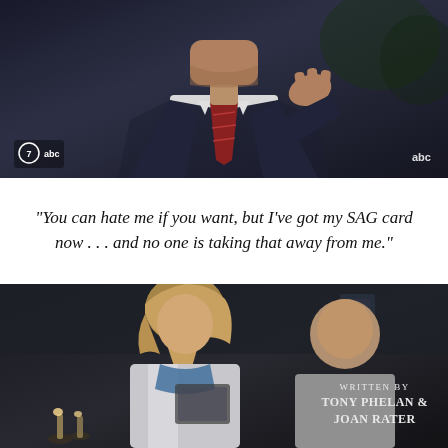[Figure (photo): Screenshot from a TV show: a man in a dark suit with a red striped tie gesturing with his hand. ABC7 logo in bottom-left corner, abc logo in bottom-right. Dark background with some greenery visible.]
“You can hate me if you want, but I’ve got my SAG card now . . . and no one is taking that away from me.”
[Figure (photo): Screenshot from a TV show (appears to be Grey's Anatomy or similar medical drama): a woman with blonde hair in a lab coat looking down, and a man in a grey shirt sitting nearby. Bottom-right overlay reads 'WRITTEN BY TONY PHELAN & JOAN RATER' in small caps.]